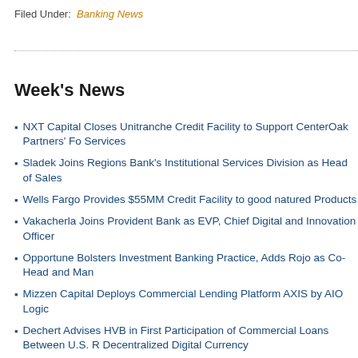Filed Under: Banking News
NXT Capital Closes Unitranche Credit Facility to Support CenterOak Partners' Fo... Services
Sladek Joins Regions Bank's Institutional Services Division as Head of Sales
Wells Fargo Provides $55MM Credit Facility to good natured Products
Vakacherla Joins Provident Bank as EVP, Chief Digital and Innovation Officer
Opportune Bolsters Investment Banking Practice, Adds Rojo as Co-Head and Man...
Mizzen Capital Deploys Commercial Lending Platform AXIS by AIO Logic
Dechert Advises HVB in First Participation of Commercial Loans Between U.S. R... Decentralized Digital Currency
MetLife Investment Management Originates Record $9.2B in Private Placement D... 2022
Trustmark Launches Equipment Finance Line of Business
Citigroup to Wind Down Consumer, Local Commercial Banking Businesses in Ru...